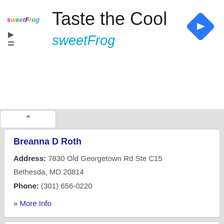[Figure (logo): sweetFrog advertisement banner with logo, 'Taste the Cool' heading, and navigation diamond icon]
Breanna D Roth
Address: 7830 Old Georgetown Rd Ste C15 Bethesda, MD 20814
Phone: (301) 656-0220
» More Info
Candace E Love
Address: 10 Center Dr, # Msc 1928 Bethesda, MD 20892
Phone: (301) 402-2592